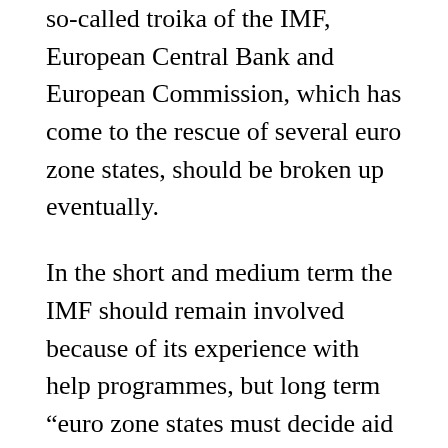so-called troika of the IMF, European Central Bank and European Commission, which has come to the rescue of several euro zone states, should be broken up eventually.
In the short and medium term the IMF should remain involved because of its experience with help programmes, but long term “euro zone states must decide aid programmes themselves,” he told the paper.
Earlier this month the IMF said some aspects of the first aid package to Athens might have been handled better, starting with a restructuring of Greek privately held debt already in 2010. It added